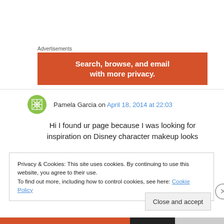Advertisements
[Figure (other): Orange advertisement banner with white bold text: 'Search, browse, and email with more privacy.']
Pamela Garcia on April 18, 2014 at 22:03
Hi I found ur page because I was looking for inspiration on Disney character makeup looks
Privacy & Cookies: This site uses cookies. By continuing to use this website, you agree to their use.
To find out more, including how to control cookies, see here: Cookie Policy
Close and accept